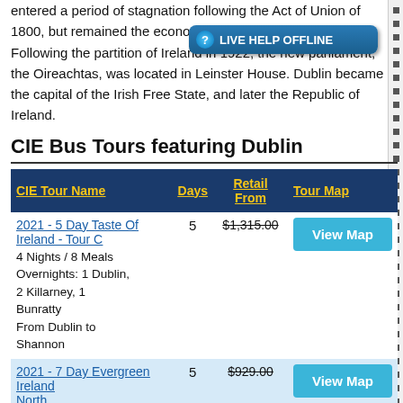entered a period of stagnation following the Act of Union of 1800, but remained the economic centre for the island. Following the partition of Ireland in 1922, the new parliament, the Oireachtas, was located in Leinster House. Dublin became the capital of the Irish Free State, and later the Republic of Ireland.
CIE Bus Tours featuring Dublin
| CIE Tour Name | Days | Retail From | Tour Map |
| --- | --- | --- | --- |
| 2021 - 5 Day Taste Of Ireland - Tour C
4 Nights / 8 Meals
Overnights: 1 Dublin, 2 Killarney, 1 Bunratty
From Dublin to Shannon | 5 | $1,315.00 | View Map |
| 2021 - 7 Day Evergreen Ireland North... | 5 | $929.00 | View Map |